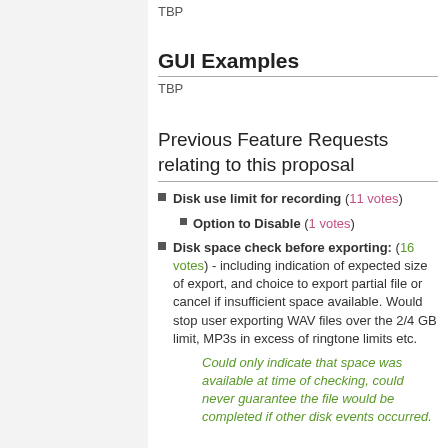TBP
GUI Examples
TBP
Previous Feature Requests relating to this proposal
Disk use limit for recording (11 votes)
Option to Disable (1 votes)
Disk space check before exporting: (16 votes) - including indication of expected size of export, and choice to export partial file or cancel if insufficient space available. Would stop user exporting WAV files over the 2/4 GB limit, MP3s in excess of ringtone limits etc.
Could only indicate that space was available at time of checking, could never guarantee the file would be completed if other disk events occurred.